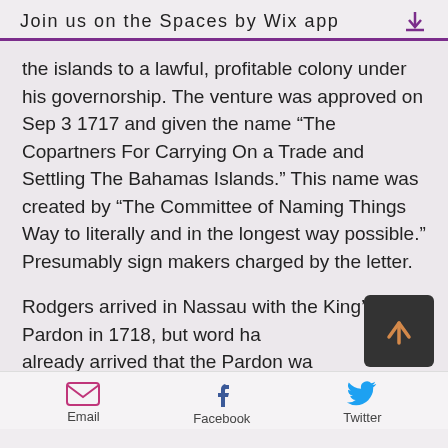Join us on the Spaces by Wix app
the islands to a lawful, profitable colony under his governorship. The venture was approved on Sep 3 1717 and given the name “The Copartners For Carrying On a Trade and Settling The Bahamas Islands.” This name was created by “The Committee of Naming Things Way to literally and in the longest way possible.” Presumably sign makers charged by the letter.
Rodgers arrived in Nassau with the King’s Pardon in 1718, but word had already arrived that the Pardon was coming, and this split the Republic of
Email   Facebook   Twitter